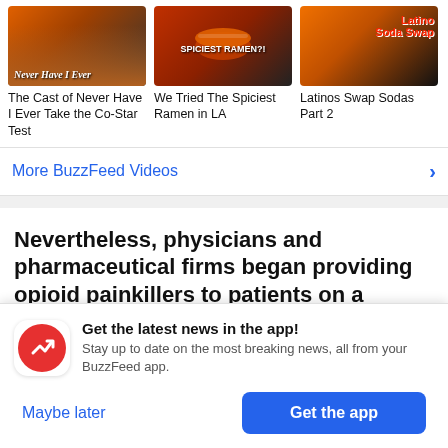[Figure (screenshot): Video thumbnails row: three BuzzFeed video thumbnails side by side]
The Cast of Never Have I Ever Take the Co-Star Test
We Tried The Spiciest Ramen in LA
Latinos Swap Sodas Part 2
More BuzzFeed Videos
Nevertheless, physicians and pharmaceutical firms began providing opioid painkillers to patients on a massive scale starting in the 1990’s, with
[Figure (screenshot): App notification card with BuzzFeed logo, title 'Get the latest news in the app!', subtitle text, and two buttons: 'Maybe later' and 'Get the app']